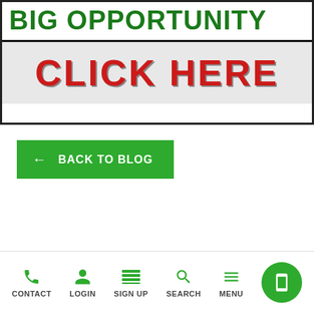[Figure (infographic): Promotional banner with green bold text 'BIG OPPORTUNITY' and a gray background section with red bold text 'CLICK HERE'. Bordered with thick black outline.]
← BACK TO BLOG
[Figure (photo): Hero image showing a person lying on the ground surrounded by money with text overlay 'CONTROL YOUR FUTURE TODAY' and subtext 'Let us help you get started']
CONTACT  LOGIN  SIGN UP  SEARCH  MENU